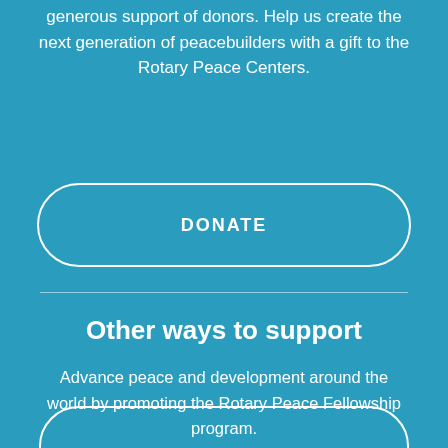generous support of donors. Help us create the next generation of peacebuilders with a gift to the Rotary Peace Centers.
DONATE
Other ways to support
Advance peace and development around the world by promoting the Rotary Peace Fellowship program.
PROMOTE